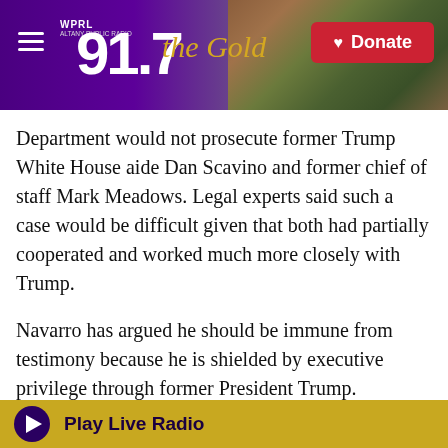WPRL 91.7 The Gold — Donate
Department would not prosecute former Trump White House aide Dan Scavino and former chief of staff Mark Meadows. Legal experts said such a case would be difficult given that both had partially cooperated and worked much more closely with Trump.
Navarro has argued he should be immune from testimony because he is shielded by executive privilege through former President Trump.
President Joe Biden has argued the violent protest on Jan. 6, 2021, where pro-Trump rioters stormed through barricades and injured law enforcement
Play Live Radio